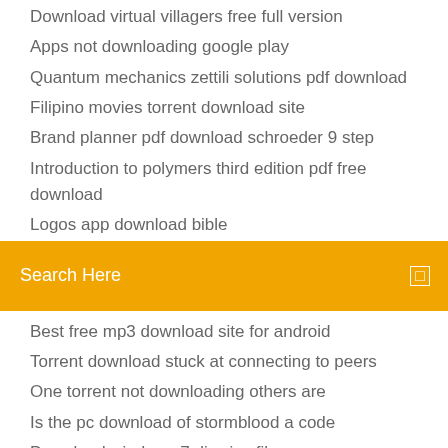Download virtual villagers free full version
Apps not downloading google play
Quantum mechanics zettili solutions pdf download
Filipino movies torrent download site
Brand planner pdf download schroeder 9 step
Introduction to polymers third edition pdf free download
Logos app download bible
Search Here
Best free mp3 download site for android
Torrent download stuck at connecting to peers
One torrent not downloading others are
Is the pc download of stormblood a code
Download windows 7 disc iso files
Download old kik apk
Download video converter youyube
Los tiempos de pablo escobar english torrent download
Baidu browser full version free download
Download whats app group contact